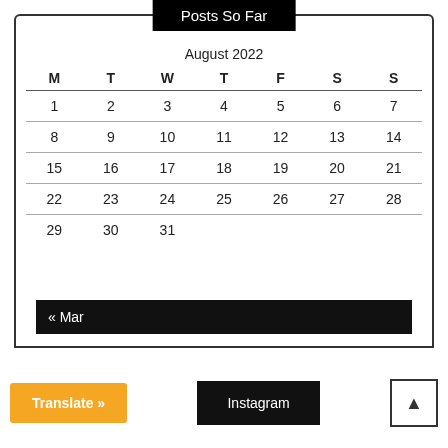Posts So Far
| M | T | W | T | F | S | S |
| --- | --- | --- | --- | --- | --- | --- |
| 1 | 2 | 3 | 4 | 5 | 6 | 7 |
| 8 | 9 | 10 | 11 | 12 | 13 | 14 |
| 15 | 16 | 17 | 18 | 19 | 20 | 21 |
| 22 | 23 | 24 | 25 | 26 | 27 | 28 |
| 29 | 30 | 31 |  |  |  |  |
« Mar
Translate »
Instagram
▲